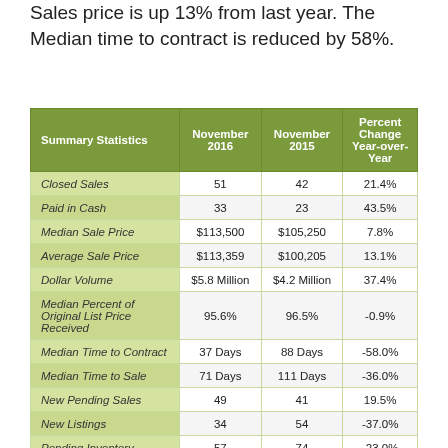Sales price is up 13% from last year. The Median time to contract is reduced by 58%.
| Summary Statistics | November 2016 | November 2015 | Percent Change Year-over-Year |
| --- | --- | --- | --- |
| Closed Sales | 51 | 42 | 21.4% |
| Paid in Cash | 33 | 23 | 43.5% |
| Median Sale Price | $113,500 | $105,250 | 7.8% |
| Average Sale Price | $113,359 | $100,205 | 13.1% |
| Dollar Volume | $5.8 Million | $4.2 Million | 37.4% |
| Median Percent of Original List Price Received | 95.6% | 96.5% | -0.9% |
| Median Time to Contract | 37 Days | 88 Days | -58.0% |
| Median Time to Sale | 71 Days | 111 Days | -36.0% |
| New Pending Sales | 49 | 41 | 19.5% |
| New Listings | 34 | 54 | -37.0% |
| Pending Inventory | 57 | 74 | -23.0% |
| Inventory (Active Listings) | 138 | 245 | -43.7% |
| Months Supply of Inventory | 2.1 | 4.3 | -51.2% |